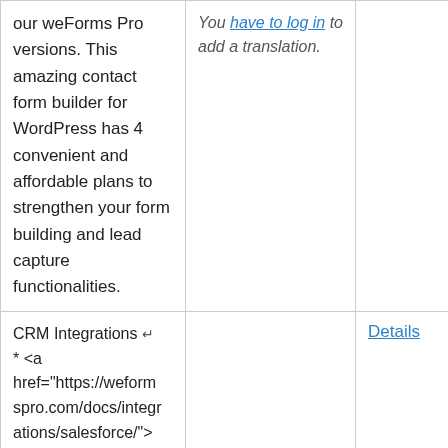our weForms Pro versions. This amazing contact form builder for WordPress has 4 convenient and affordable plans to strengthen your form building and lead capture functionalities.
You have to log in to add a translation.
CRM Integrations ↵ * <a href="https://weformspro.com/docs/integrations/salesforce/">Salesforce:</a> Integrate with
Details